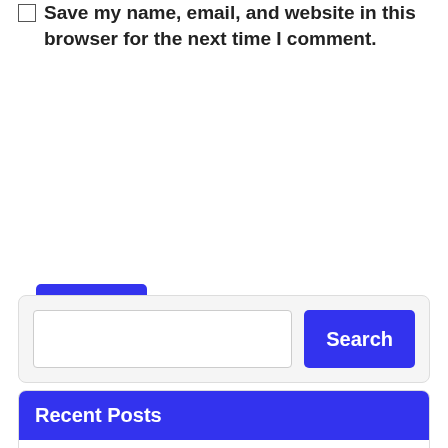Save my name, email, and website in this browser for the next time I comment.
Send
Search
Recent Posts
Give Your Immune System a Boost with Immunity Medicinal Mushroom Blend
Process of Building A Luxury Home in Calgary
The Best Online Christian Colleges: Which One is